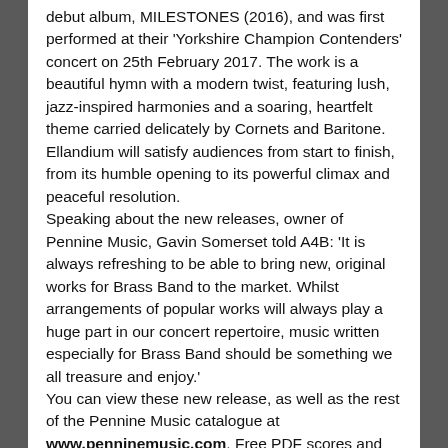debut album, MILESTONES (2016), and was first performed at their 'Yorkshire Champion Contenders' concert on 25th February 2017. The work is a beautiful hymn with a modern twist, featuring lush, jazz-inspired harmonies and a soaring, heartfelt theme carried delicately by Cornets and Baritone. Ellandium will satisfy audiences from start to finish, from its humble opening to its powerful climax and peaceful resolution.
Speaking about the new releases, owner of Pennine Music, Gavin Somerset told A4B: 'It is always refreshing to be able to bring new, original works for Brass Band to the market. Whilst arrangements of popular works will always play a huge part in our concert repertoire, music written especially for Brass Band should be something we all treasure and enjoy.'
You can view these new release, as well as the rest of the Pennine Music catalogue at www.penninemusic.com. Free PDF scores and audio samples are also available to help bands in their quest for new music.